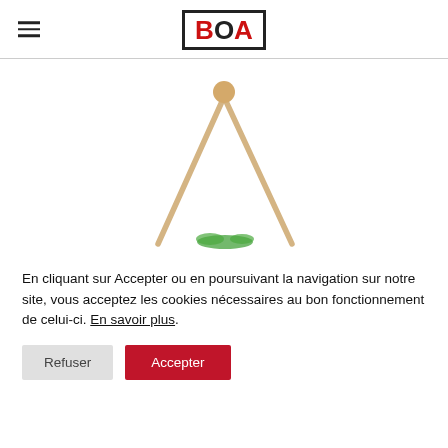BOA
[Figure (photo): Chopsticks forming a triangle shape with a small green garnish at the bottom, on a white background]
En cliquant sur Accepter ou en poursuivant la navigation sur notre site, vous acceptez les cookies nécessaires au bon fonctionnement de celui-ci. En savoir plus.
Refuser
Accepter